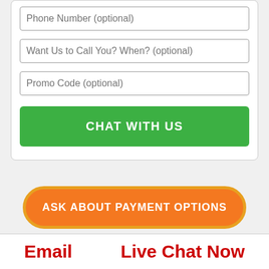Phone Number (optional)
Want Us to Call You? When? (optional)
Promo Code (optional)
CHAT WITH US
ASK ABOUT PAYMENT OPTIONS
Email
Live Chat Now